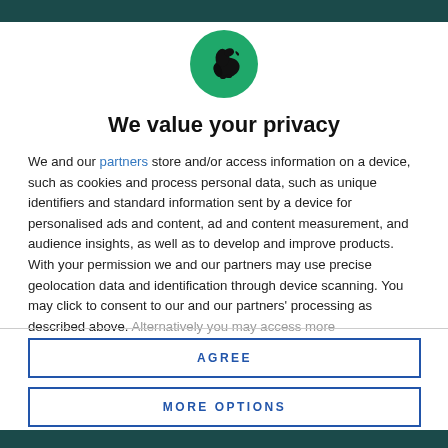[Figure (logo): Circular green logo with black silhouette of a bird (raven/crow) facing right]
We value your privacy
We and our partners store and/or access information on a device, such as cookies and process personal data, such as unique identifiers and standard information sent by a device for personalised ads and content, ad and content measurement, and audience insights, as well as to develop and improve products. With your permission we and our partners may use precise geolocation data and identification through device scanning. You may click to consent to our and our partners' processing as described above. Alternatively you may access more
AGREE
MORE OPTIONS